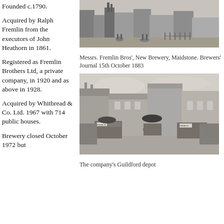Founded c.1790.
Acquired by Ralph Fremlin from the executors of John Heathorn in 1861.
[Figure (photo): Engraving of Messrs. Fremlin Bros' New Brewery, Maidstone, showing industrial buildings and street scene]
Messrs. Fremlin Bros', New Brewery, Maidstone. Brewers' Journal 15th October 1883
Registered as Fremlin Brothers Ltd, a private company, in 1920 and as above in 1928.
Acquired by Whitbread & Co. Ltd. 1967 with 714 public houses.
[Figure (photo): Black and white photograph of the company's Guildford depot showing horse-drawn wagons with Fremlin branding and people gathered in a street scene]
The company's Guildford depot
Brewery closed October 1972 but